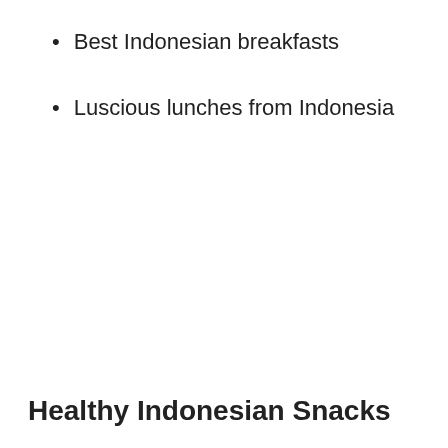Best Indonesian breakfasts
Luscious lunches from Indonesia
Healthy Indonesian Snacks